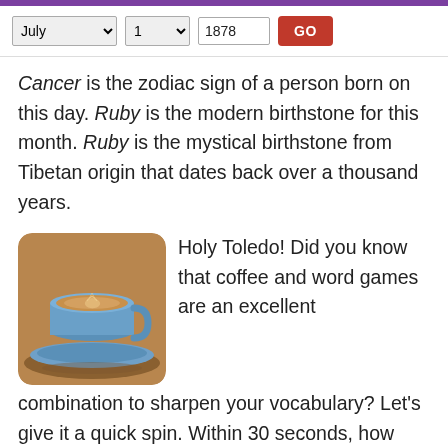Purple top bar with controls: July dropdown, 1 dropdown, 1878 input, GO button
Cancer is the zodiac sign of a person born on this day. Ruby is the modern birthstone for this month. Ruby is the mystical birthstone from Tibetan origin that dates back over a thousand years.
[Figure (photo): A blue ceramic coffee cup with latte art on a blue saucer, photographed from above at slight angle]
Holy Toledo! Did you know that coffee and word games are an excellent combination to sharpen your vocabulary? Let's give it a quick spin. Within 30 seconds, how many words can you think of from these letters RAZEDQBTIE? Check your